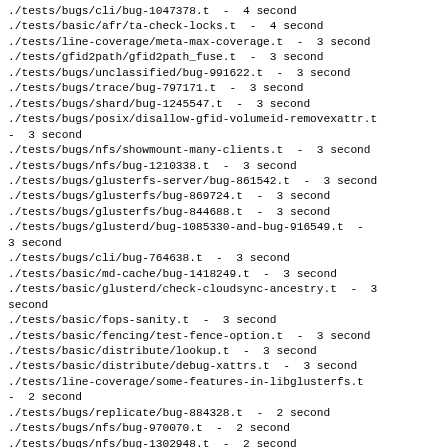./tests/bugs/cli/bug-1047378.t  -  4 second
./tests/basic/afr/ta-check-locks.t  -  4 second
./tests/line-coverage/meta-max-coverage.t  -  3 second
./tests/gfid2path/gfid2path_fuse.t  -  3 second
./tests/bugs/unclassified/bug-991622.t  -  3 second
./tests/bugs/trace/bug-797171.t  -  3 second
./tests/bugs/shard/bug-1245547.t  -  3 second
./tests/bugs/posix/disallow-gfid-volumeid-removexattr.t - 3 second
./tests/bugs/nfs/showmount-many-clients.t  -  3 second
./tests/bugs/nfs/bug-1210338.t  -  3 second
./tests/bugs/glusterfs-server/bug-861542.t  -  3 second
./tests/bugs/glusterfs/bug-869724.t  -  3 second
./tests/bugs/glusterfs/bug-844688.t  -  3 second
./tests/bugs/glusterd/bug-1085330-and-bug-916549.t  - 3 second
./tests/bugs/cli/bug-764638.t  -  3 second
./tests/basic/md-cache/bug-1418249.t  -  3 second
./tests/basic/glusterd/check-cloudsync-ancestry.t  -  3 second
./tests/basic/fops-sanity.t  -  3 second
./tests/basic/fencing/test-fence-option.t  -  3 second
./tests/basic/distribute/lookup.t  -  3 second
./tests/basic/distribute/debug-xattrs.t  -  3 second
./tests/line-coverage/some-features-in-libglusterfs.t - 2 second
./tests/bugs/replicate/bug-884328.t  -  2 second
./tests/bugs/nfs/bug-970070.t  -  2 second
./tests/bugs/nfs/bug-1302948.t  -  2 second
./tests/bugs/logging/bug-823081.t  -  2 second